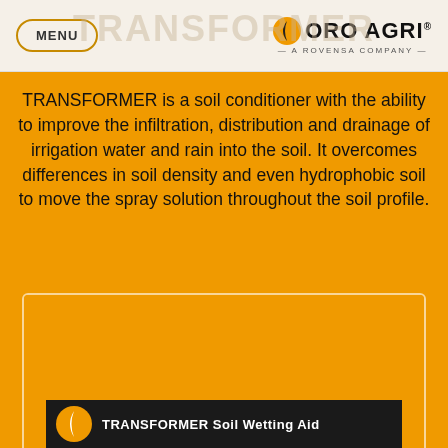MENU | ORO AGRI® — A ROVENSA COMPANY —
TRANSFORMER is a soil conditioner with the ability to improve the infiltration, distribution and drainage of irrigation water and rain into the soil. It overcomes differences in soil density and even hydrophobic soil to move the spray solution throughout the soil profile.
[Figure (other): READ MORE button with download icon, cream rounded rectangle on orange background]
[Figure (screenshot): Partial video thumbnail showing TRANSFORMER Soil Wetting Aid title with logo on dark background]